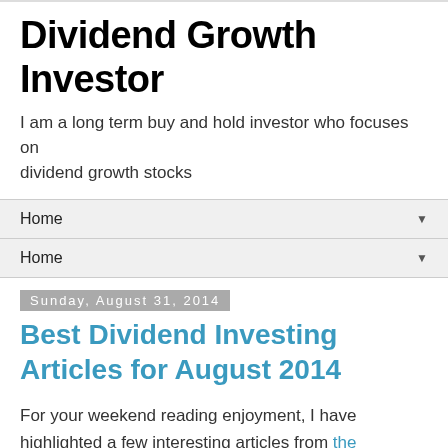Dividend Growth Investor
I am a long term buy and hold investor who focuses on dividend growth stocks
Home
Home
Sunday, August 31, 2014
Best Dividend Investing Articles for August 2014
For your weekend reading enjoyment, I have highlighted a few interesting articles from the archives, which I find to be relevant today. The first five articles have been written and posted on this site, while the last four have been selected from other authors. I tend to post anywhere between three to four articles to my site every week. I usually try to write at